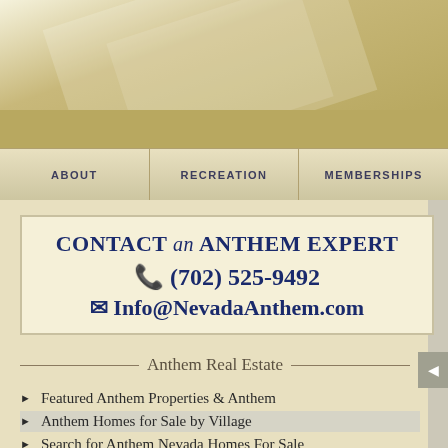HOME
ABOUT | RECREATION | MEMBERSHIPS
CONTACT an ANTHEM EXPERT
☎ (702) 525-9492
✉ Info@NevadaAnthem.com
Anthem Real Estate
Featured Anthem Properties & Anthem
Anthem Homes for Sale by Village
Search for Anthem Nevada Homes For Sale
New Homes in Anthem, Nevada
Anthem Townhomes & Anthem Condos
Lender-Owned Homes & Bank-Owned